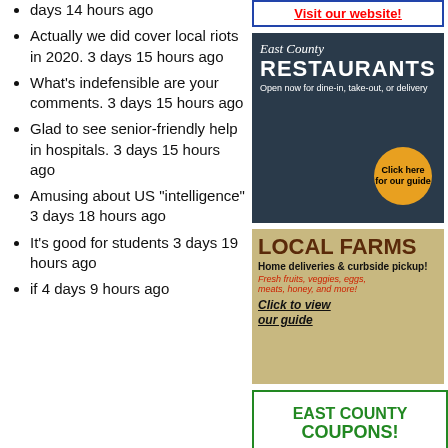days 14 hours ago
Actually we did cover local riots in 2020. 3 days 15 hours ago
What's indefensible are your comments. 3 days 15 hours ago
Glad to see senior-friendly help in hospitals. 3 days 15 hours ago
Amusing about US "intelligence" 3 days 18 hours ago
It's good for students 3 days 19 hours ago
if 4 days 9 hours ago
[Figure (advertisement): Visit our website! link in blue bordered box]
[Figure (advertisement): East County Restaurants - Open now for dine-in, take-out, or delivery. Click here for our guide. Dark background with food image.]
[Figure (advertisement): LOCAL FARMS - Home deliveries & curbside pickup! Fresh fruits, veggies, eggs, meats, honey, and more! Click to view our guide.]
[Figure (advertisement): EAST COUNTY COUPONS! in green text with green border]